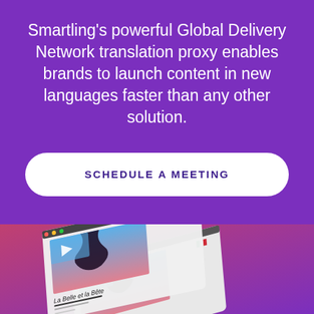Smartling's powerful Global Delivery Network translation proxy enables brands to launch content in new languages faster than any other solution.
SCHEDULE A MEETING
[Figure (illustration): Isometric illustration of two overlapping browser/app mockup cards showing translated movie listing pages — one in French ('La Belle et la Bête') with a French flag, and one in Italian ('La Bella e la B...') with an Italian flag. The background is a pink-to-purple gradient. The mockups show a dark silhouette creature image and video player thumbnails with play buttons.]